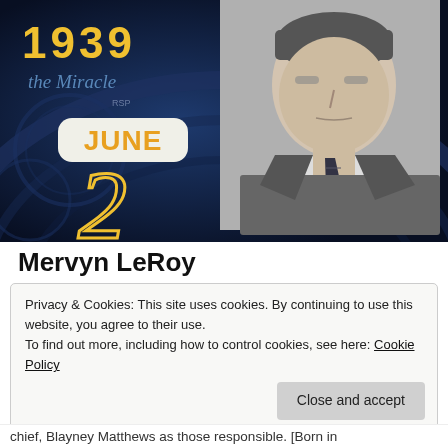[Figure (photo): A decorative image with a dark blue ornate background showing '1939' in large yellow numerals at top left, italic script text 'The Miracle' below, a white badge reading 'JUNE' in orange, a stylized yellow outline number '2' below it, and a black-and-white portrait photo of a man in a suit and tie on the right side.]
Mervyn LeRoy
Privacy & Cookies: This site uses cookies. By continuing to use this website, you agree to their use.
To find out more, including how to control cookies, see here: Cookie Policy
Close and accept
chief, Blayney Matthews as those responsible. [Born in